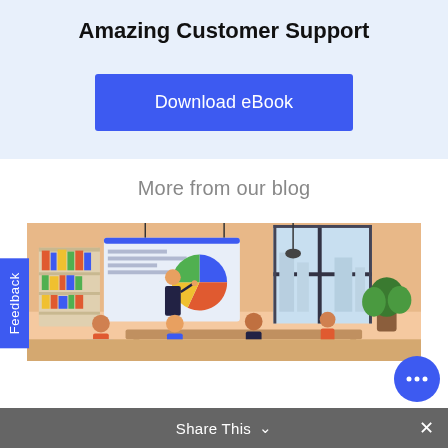Amazing Customer Support
Download eBook
More from our blog
[Figure (illustration): Illustrated scene of people in a modern office meeting room: a presenter pointing at a screen showing a pie chart, colleagues seated at a table with laptops, bookshelves in the background, plants, and pendant lights overhead.]
Feedback
Share This
[Figure (illustration): Blue circular chat/message button with ellipsis icon]